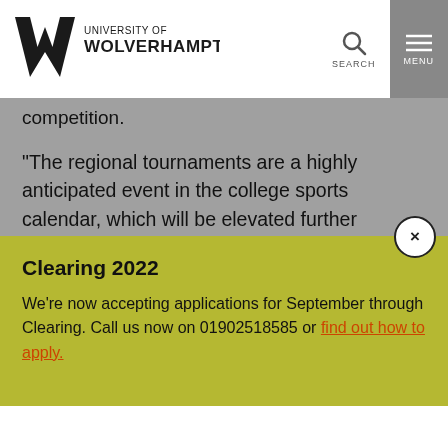University of Wolverhampton
competition.
“The regional tournaments are a highly anticipated event in the college sports calendar, which will be elevated further through this partnership, providing colleges with a high-quality, competitive, multi-sport event.”
Mark Howard, West Midlands Regional Chair, said: “Having worked with the University of Wolverhampton over
Clearing 2022
We’re now accepting applications for September through Clearing. Call us now on 01902518585 or find out how to apply.